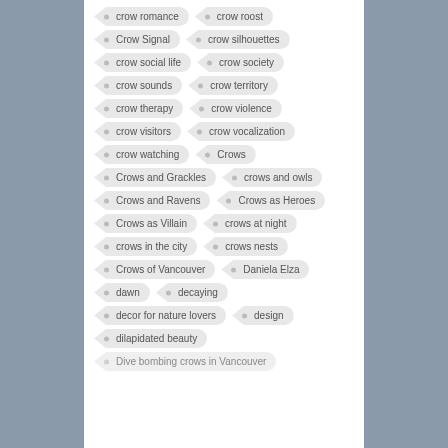crow romance
crow roost
Crow Signal
crow silhouettes
crow social life
crow society
crow sounds
crow territory
crow therapy
crow violence
crow visitors
crow vocalization
crow watching
Crows
Crows and Grackles
crows and owls
Crows and Ravens
Crows as Heroes
Crows as Villain
crows at night
crows in the city
crows nests
Crows of Vancouver
Daniela Elza
dawn
decaying
decor for nature lovers
design
dilapidated beauty
Dive bombing crows in Vancouver